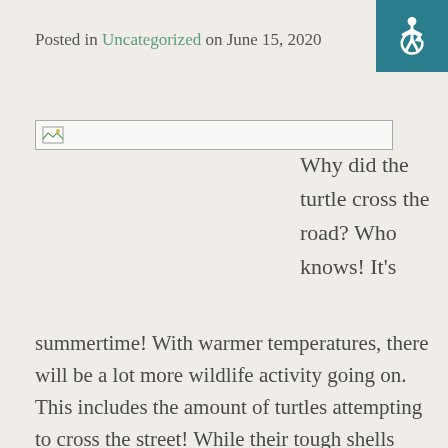Accessibility icon in teal header bar
Posted in Uncategorized on June 15, 2020
[Figure (other): Broken image placeholder]
Why did the turtle cross the road? Who knows! It's
summertime! With warmer temperatures, there will be a lot more wildlife activity going on. This includes the amount of turtles attempting to cross the street! While their tough shells protect them from most things, it won't save these reptiles from getting run